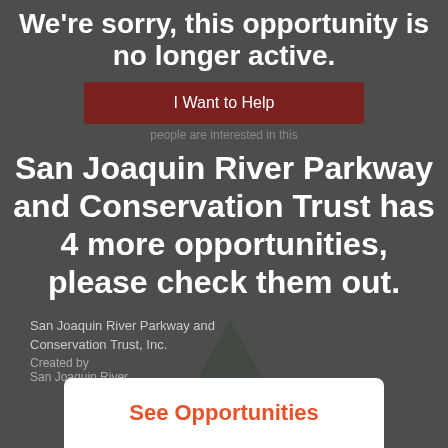We're sorry, this opportunity is no longer active.
I Want to Help
San Joaquin River Parkway and Conservation Trust has 4 more opportunities, please check them out.
San Joaquin River Parkway and Conservation Trust, Inc.
See Opportunities